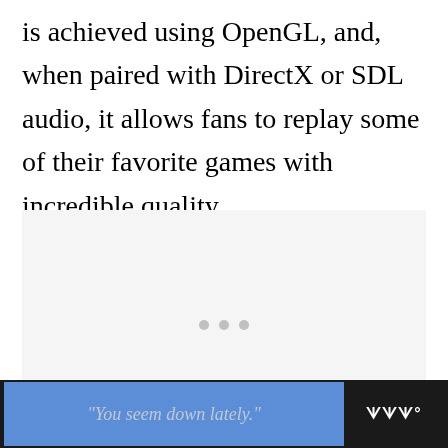is achieved using OpenGL, and, when paired with DirectX or SDL audio, it allows fans to replay some of their favorite games with incredible quality.
[Figure (other): Light gray image placeholder area with three gray dots in the center indicating a loading or carousel indicator]
"You seem down lately." [advertisement banner with logo]